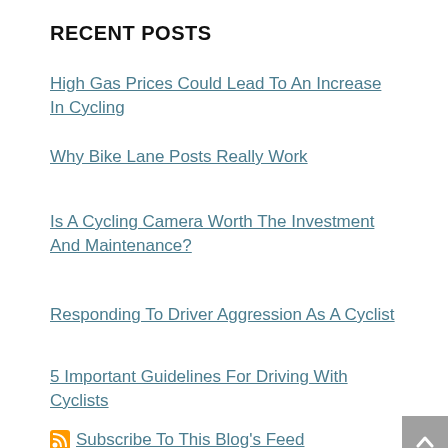RECENT POSTS
High Gas Prices Could Lead To An Increase In Cycling
Why Bike Lane Posts Really Work
Is A Cycling Camera Worth The Investment And Maintenance?
Responding To Driver Aggression As A Cyclist
5 Important Guidelines For Driving With Cyclists
Subscribe To This Blog's Feed
FindLaw Network
Contact Us